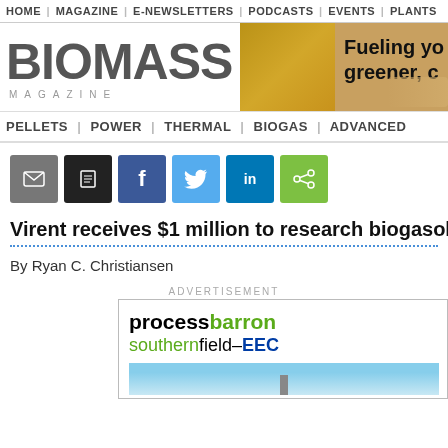HOME | MAGAZINE | E-NEWSLETTERS | PODCASTS | EVENTS | PLANTS
[Figure (logo): Biomass Magazine logo with large bold gray BIOMASS text and MAGAZINE letterspaced beneath]
[Figure (photo): Advertisement banner: Fueling yo greener, c with machinery image]
PELLETS | POWER | THERMAL | BIOGAS | ADVANCED
[Figure (infographic): Social share buttons: email (gray), print (black), Facebook (blue), Twitter (light blue), LinkedIn (dark blue), share (green)]
Virent receives $1 million to research biogasoli
By Ryan C. Christiansen
ADVERTISEMENT
[Figure (logo): Process Barron and southernfield-EEC advertisement with sky background]